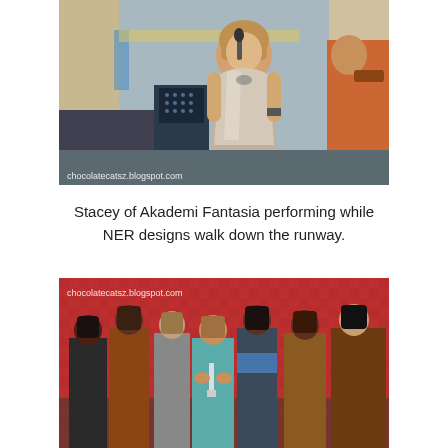[Figure (photo): A female performer (Stacey of Akademi Fantasia) singing on stage wearing a silver/metallic dress, holding a microphone, with a guitarist visible on the right. Watermark reads: chocolatecatsz.blogspot.com]
Stacey of Akademi Fantasia performing while NER designs walk down the runway.
[Figure (photo): Group of models and a person in a teal shirt on a runway stage with a red checkered background. Models wearing various NER fashion designs. Watermark reads: chocolatecatsz.blogspot.com]